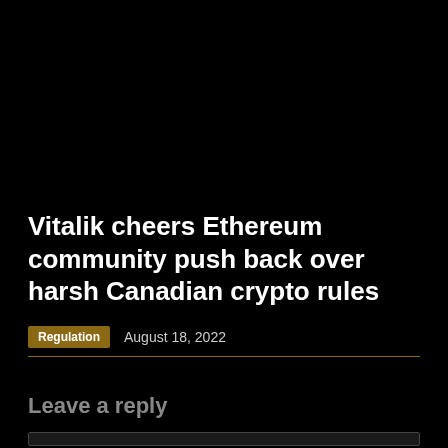Vitalik cheers Ethereum community push back over harsh Canadian crypto rules
Regulation  August 18, 2022
Leave a reply